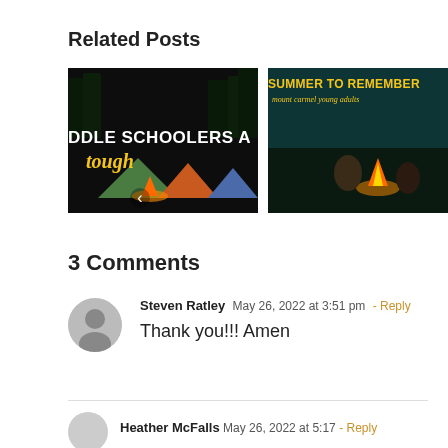Related Posts
[Figure (photo): Camping scene at night with tents and campfire, text overlay: DDLE SCHOOLERS AR tough]
[Figure (photo): Campfire scene at night, text overlay: SUMMER TO REMEMBER mount carmel young adults]
3 Comments
[Figure (photo): Avatar placeholder icon for Steven Ratley]
Steven Ratley May 26, 2022 at 3:51 pm - Reply
Thank you!!! Amen
[Figure (photo): Avatar placeholder icon for second commenter]
Heather McFalls May 26, 2022 at 5:17 - Reply